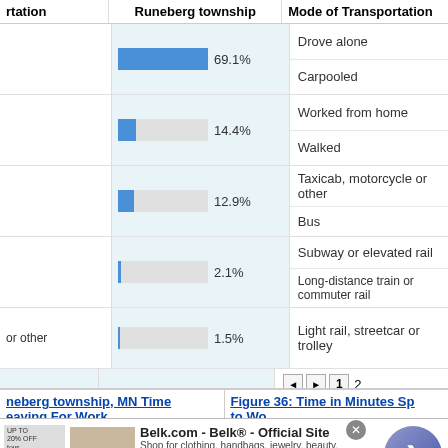| Mode of Transportation | Runeberg township | Mode of Transportation |
| --- | --- | --- |
|  | 69.1% | Drove alone / Carpooled |
|  | 14.4% | Worked from home / Walked |
|  | 12.9% | Taxicab, motorcycle or other / Bus |
|  | 2.1% | Subway or elevated rail / Long-distance train or commuter rail |
| or other | 1.5% | Light rail, streetcar or trolley |
neberg township, MN Time Leaving For Work
Figure 36: Time in Minutes Spent to Work